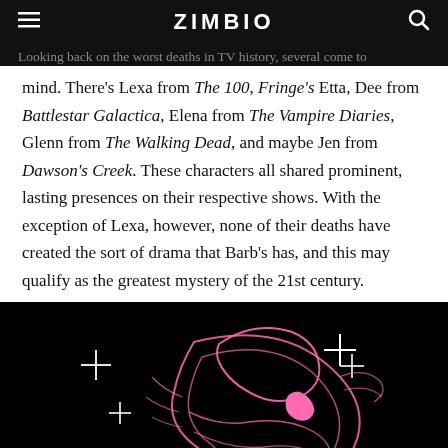ZIMBIO
Looking back on the worst deaths in TV history, several come to mind. There's Lexa from The 100, Fringe's Etta, Dee from Battlestar Galactica, Elena from The Vampire Diaries, Glenn from The Walking Dead, and maybe Jen from Dawson's Creek. These characters all shared prominent, lasting presences on their respective shows. With the exception of Lexa, however, none of their deaths have created the sort of drama that Barb's has, and this may qualify as the greatest mystery of the 21st century.
[Figure (illustration): Dark illustration of a figure with pink neon outlines on a black background with white star/cross sparkle decorations]